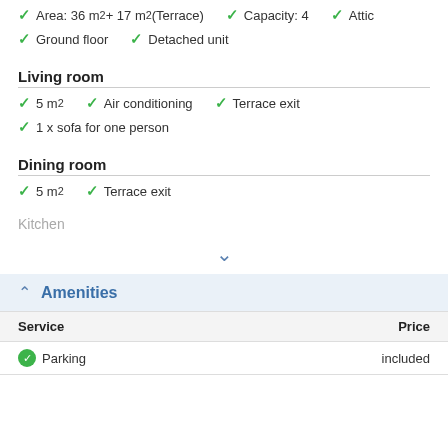Area: 36 m² + 17 m² (Terrace)
Capacity: 4
Attic
Ground floor
Detached unit
Living room
5 m²
Air conditioning
Terrace exit
1 x sofa for one person
Dining room
5 m²
Terrace exit
Kitchen
Amenities
| Service | Price |
| --- | --- |
| Parking | included |